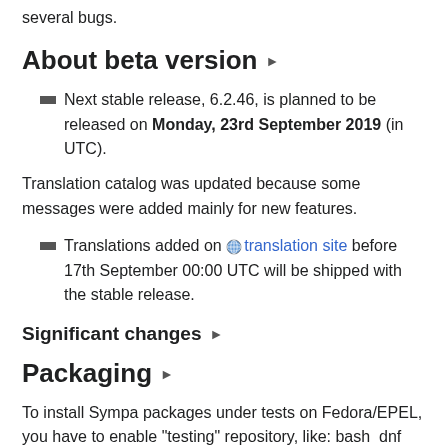several bugs.
About beta version ▶
Next stable release, 6.2.46, is planned to be released on Monday, 23rd September 2019 (in UTC).
Translation catalog was updated because some messages were added mainly for new features.
Translations added on 🌐 translation site before 17th September 00:00 UTC will be shipped with the stable release.
Significant changes ▶
Packaging ▶
To install Sympa packages under tests on Fedora/EPEL, you have to enable "testing" repository, like: bash  dnf